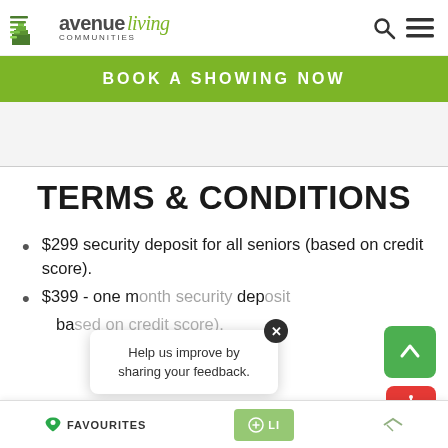avenue living communities — navigation header
BOOK A SHOWING NOW
TERMS & CONDITIONS
$299 security deposit for all seniors (based on credit score).
$399 - one month security deposit (based on credit score).